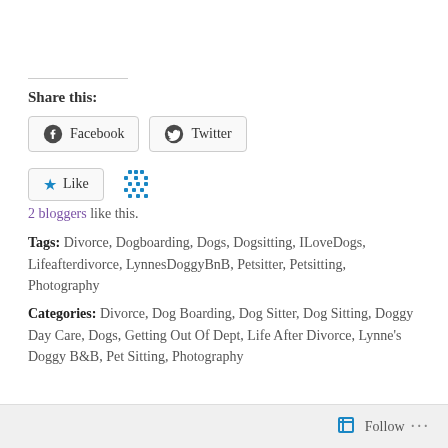Share this:
Facebook  Twitter
Like  2 bloggers like this.
Tags: Divorce, Dogboarding, Dogs, Dogsitting, ILoveDogs, Lifeafterdivorce, LynnesDoggyBnB, Petsitter, Petsitting, Photography
Categories: Divorce, Dog Boarding, Dog Sitter, Dog Sitting, Doggy Day Care, Dogs, Getting Out Of Dept, Life After Divorce, Lynne's Doggy B&B, Pet Sitting, Photography
Follow